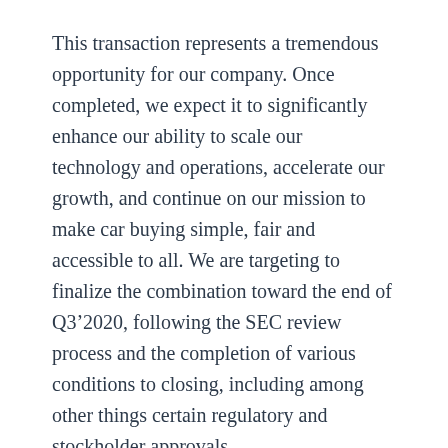This transaction represents a tremendous opportunity for our company. Once completed, we expect it to significantly enhance our ability to scale our technology and operations, accelerate our growth, and continue on our mission to make car buying simple, fair and accessible to all. We are targeting to finalize the combination toward the end of Q3‘2020, following the SEC review process and the completion of various conditions to closing, including among other things certain regulatory and stockholder approvals.
We want to close out with a huge shout-out to the many people who’ve helped us along the way. We’ve known each other for nearly 25